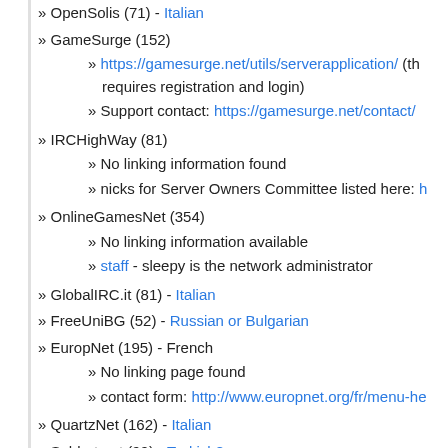» GameSurge (152)
» https://gamesurge.net/utils/serverapplication/ (th requires registration and login)
» Support contact: https://gamesurge.net/contact/
» IRCHighWay (81)
» No linking information found
» nicks for Server Owners Committee listed here: h
» OnlineGamesNet (354)
» No linking information available
» staff - sleepy is the network administrator
» GlobalIRC.it (81) - Italian
» FreeUniBG (52) - Russian or Bulgarian
» EuropNet (195) - French
» No linking page found
» contact form: http://www.europnet.org/fr/menu-he
» QuartzNet (162) - Italian
» Sohbet.net (99) - Turkish?
» SlashNET (216)